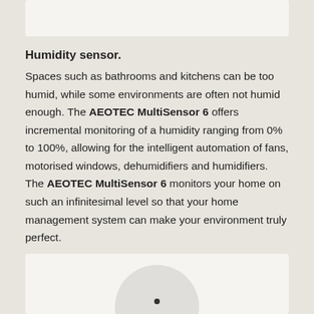[Figure (photo): Top portion of a white device/product photo on light background]
Humidity sensor.
Spaces such as bathrooms and kitchens can be too humid, while some environments are often not humid enough. The AEOTEC MultiSensor 6 offers incremental monitoring of a humidity ranging from 0% to 100%, allowing for the intelligent automation of fans, motorised windows, dehumidifiers and humidifiers. The AEOTEC MultiSensor 6 monitors your home on such an infinitesimal level so that your home management system can make your environment truly perfect.
[Figure (photo): Bottom portion showing a round white sensor device with a small dot/button visible, on a light background]